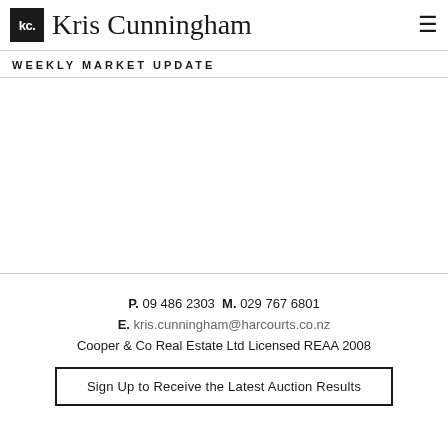kc. Kris Cunningham
WEEKLY MARKET UPDATE
P. 09 486 2303  M. 029 767 6801
E. kris.cunningham@harcourts.co.nz
Cooper & Co Real Estate Ltd Licensed REAA 2008
Sign Up to Receive the Latest Auction Results